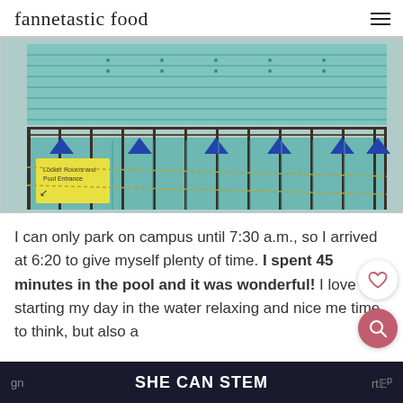fannetastic food
[Figure (photo): Indoor Olympic swimming pool with multiple lanes, blue lane dividers, triangular pennant flags hanging over the pool, viewed from an elevated position. A yellow sign is visible on the left side.]
I can only park on campus until 7:30 a.m., so I arrived at 6:20 to give myself plenty of time. I spent 45 minutes in the pool and it was wonderful! I love starting my day in the water relaxing and nice me time to think, but also a
SHE CAN STEM